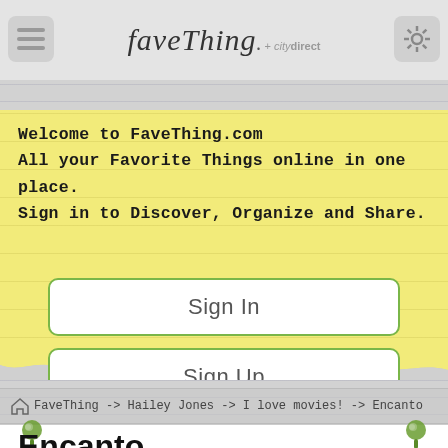faveThing + citydirect
Welcome to FaveThing.com
All your Favorite Things online in one place.
Sign in to Discover, Organize and Share.
Sign In
Sign Up
FaveThing -> Hailey Jones -> I love movies! -> Encanto
Encanto